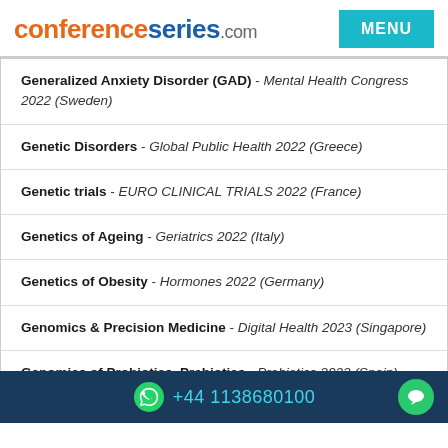conferenceseries.com
Generalized Anxiety Disorder (GAD) - Mental Health Congress 2022 (Sweden)
Genetic Disorders - Global Public Health 2022 (Greece)
Genetic trials - EURO CLINICAL TRIALS 2022 (France)
Genetics of Ageing - Geriatrics 2022 (Italy)
Genetics of Obesity - Hormones 2022 (Germany)
Genomics & Precision Medicine - Digital Health 2023 (Singapore)
Genomics of Probiotics, Prebiotics - Probiotics 2022 (Spain)
+44 1138680100